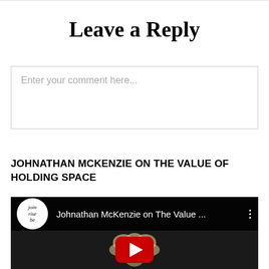Leave a Reply
Enter your comment here...
JOHNATHAN MCKENZIE ON THE VALUE OF HOLDING SPACE
[Figure (screenshot): YouTube video embed showing 'Johnathan McKenzie on The Value ...' with join rise be channel logo and a flower thumbnail with red play button]